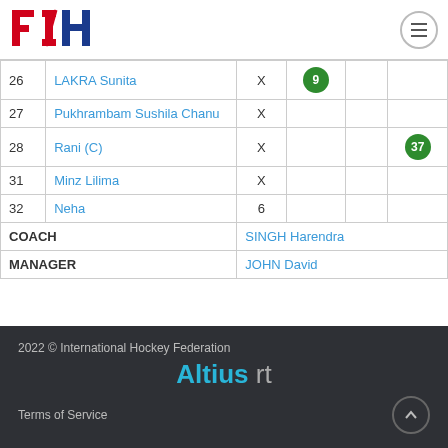FIH Logo and navigation
| # | Name |  |  |  |  |
| --- | --- | --- | --- | --- | --- |
| 26 | LAKRA Sunita | X | 9 |  |  |
| 27 | Pukhrambam Sushila Chanu | X |  |  |  |
| 28 | Rani (C) | X |  |  | 37 |
| 31 | Minz Lilima | X |  |  |  |
| 32 | Neha | 6 |  |  |  |
| COACH |  |  | SINGH Harendra |  |  |
| MANAGER |  |  | JOHN David |  |  |
2022 © International Hockey Federation  Altius rt  Terms of Service